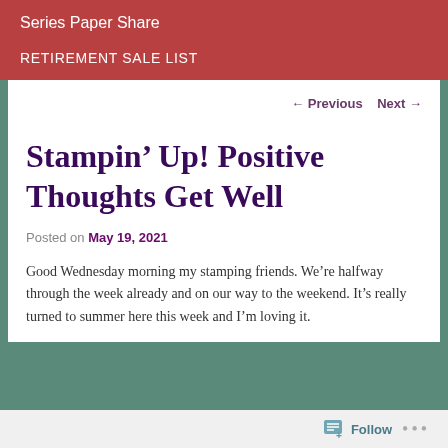Series Paper Share
RETIREMENT SALE LIST
← Previous   Next →
Stampin' Up! Positive Thoughts Get Well
Posted on May 19, 2021
Good Wednesday morning my stamping friends. We're halfway through the week already and on our way to the weekend. It's really turned to summer here this week and I'm loving it.
Follow